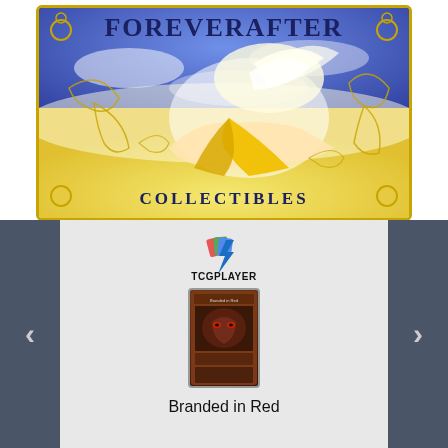[Figure (logo): ForeverAfter Collectibles logo — anime-style angel girl with long blonde hair and wings lying on a gold/yellow background under a blue sky, with gold scroll decorations and the text FOREVERAFTER at top and COLLECTIBLES at bottom, gold border with circular corner decorations.]
[Figure (logo): TCGPlayer logo — blue lightning bolt icon with colored card fan above the text TCGPLAYER in bold black letters.]
[Figure (photo): Yu-Gi-Oh trading card thumbnail showing Branded in Red card with dark reddish-brown artwork.]
Branded in Red